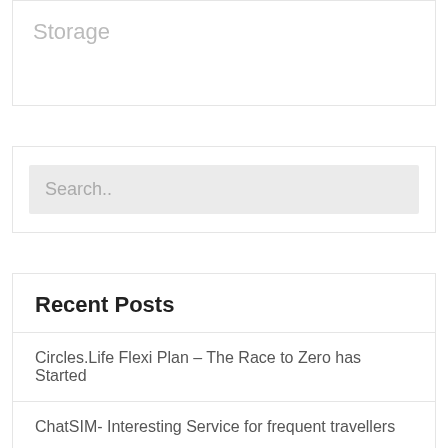Storage
Search..
Recent Posts
Circles.Life Flexi Plan – The Race to Zero has Started
ChatSIM- Interesting Service for frequent travellers
E-Commerce – going Mobile-Only?
Internet Backbone Maxing out?